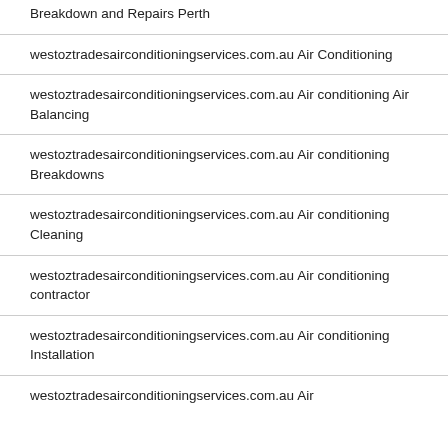Breakdown and Repairs Perth
westoztradesairconditioningservices.com.au Air Conditioning
westoztradesairconditioningservices.com.au Air conditioning Air Balancing
westoztradesairconditioningservices.com.au Air conditioning Breakdowns
westoztradesairconditioningservices.com.au Air conditioning Cleaning
westoztradesairconditioningservices.com.au Air conditioning contractor
westoztradesairconditioningservices.com.au Air conditioning Installation
westoztradesairconditioningservices.com.au Air